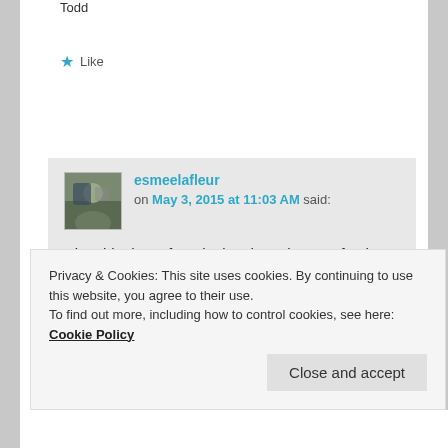Todd
★ Like
Reply ↓
esmeelafleur on May 3, 2015 at 11:03 AM said:
Hi Todd, I have found a butcher who gets fresh pork in once a week. They are able to grind it and put it in the freezer within two days of the animal being slaughtered. They portion it into 1 lb. packages for easy
Privacy & Cookies: This site uses cookies. By continuing to use this website, you agree to their use.
To find out more, including how to control cookies, see here: Cookie Policy
Close and accept